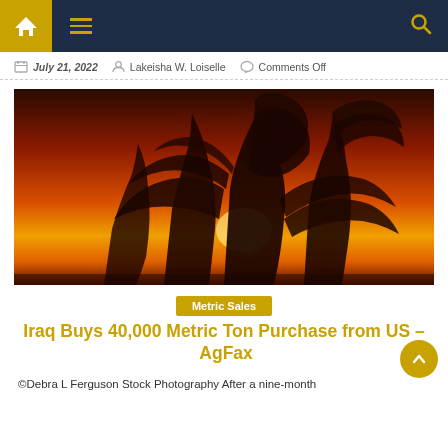Navigation bar with home icon, hamburger menu, and search icon
July 21, 2022   Lakeisha W. Loiselle   Comments Off
[Figure (photo): Silhouette of grain/rice plant stalks against a vivid orange and red sunset sky, with a large sun visible through the stalks]
Metric Sales
Iraq Buys 40,000 Metric Ton Purchase from US – AgFax
©Debra L Ferguson Stock Photography After a nine-month